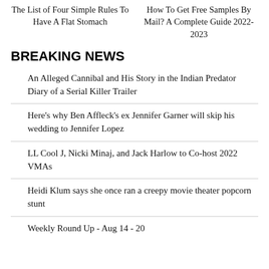The List of Four Simple Rules To Have A Flat Stomach
How To Get Free Samples By Mail? A Complete Guide 2022-2023
BREAKING NEWS
An Alleged Cannibal and His Story in the Indian Predator Diary of a Serial Killer Trailer
Here's why Ben Affleck's ex Jennifer Garner will skip his wedding to Jennifer Lopez
LL Cool J, Nicki Minaj, and Jack Harlow to Co-host 2022 VMAs
Heidi Klum says she once ran a creepy movie theater popcorn stunt
Weekly Round Up - Aug 14 - 20